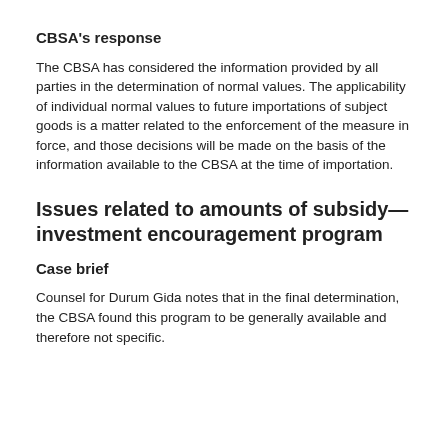CBSA's response
The CBSA has considered the information provided by all parties in the determination of normal values. The applicability of individual normal values to future importations of subject goods is a matter related to the enforcement of the measure in force, and those decisions will be made on the basis of the information available to the CBSA at the time of importation.
Issues related to amounts of subsidy—investment encouragement program
Case brief
Counsel for Durum Gida notes that in the final determination, the CBSA found this program to be generally available and therefore not specific.